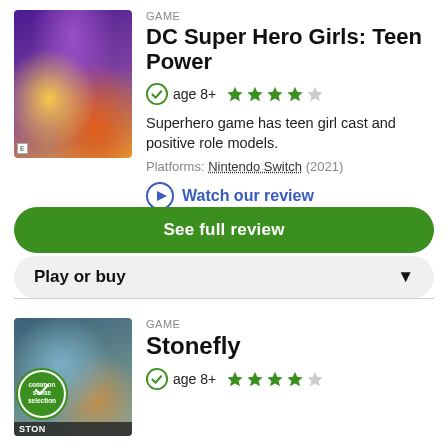[Figure (illustration): DC Super Hero Girls: Teen Power game cover art with colorful superhero characters on purple/orange background]
GAME
DC Super Hero Girls: Teen Power
age 8+
4 out of 5 stars rating
Superhero game has teen girl cast and positive role models.
Platforms: Nintendo Switch (2021)
Watch our review
See full review
Play or buy
GAME
Stonefly
age 8+
4 out of 5 stars rating